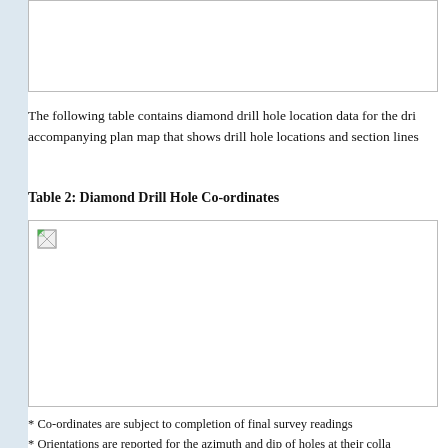[Figure (table-as-image): Top portion of a table or figure, cropped at top of page]
The following table contains diamond drill hole location data for the dri accompanying plan map that shows drill hole locations and section lines
Table 2: Diamond Drill Hole Co-ordinates
[Figure (table-as-image): Diamond Drill Hole Co-ordinates table image with broken image placeholder]
* Co-ordinates are subject to completion of final survey readings
* Orientations are reported for the azimuth and dip of holes at their colla
Goldstorm Zone Drill Section 109+00 NE, 111+00 NE and 114+00 N